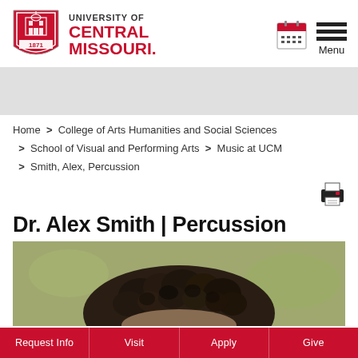[Figure (logo): University of Central Missouri shield logo with text UNIVERSITY OF CENTRAL MISSOURI]
[Figure (other): Calendar icon and hamburger menu icon with Menu label]
Home > College of Arts Humanities and Social Sciences > School of Visual and Performing Arts > Music at UCM > Smith, Alex, Percussion
[Figure (other): Print icon]
Dr. Alex Smith | Percussion
[Figure (photo): Photo of Dr. Alex Smith showing top of head with curly dark hair]
Request Info  Visit  Apply  Give